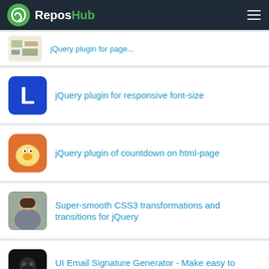ReposHub
jQuery plugin for responsive font-size
jQuery plugin of countdown on html-page
Super-smooth CSS3 transformations and transitions for jQuery
UI Email Signature Generator - Make easy to create your email signature
Shows signature help from lsp server.